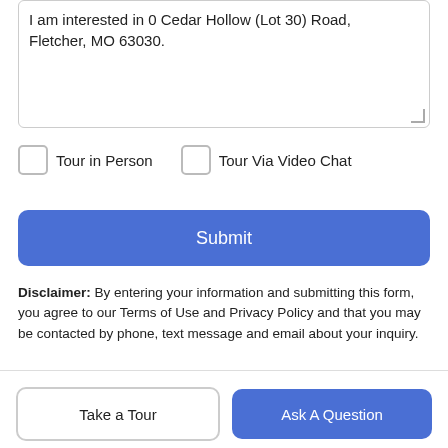I am interested in 0 Cedar Hollow (Lot 30) Road, Fletcher, MO 63030.
Tour in Person
Tour Via Video Chat
Submit
Disclaimer: By entering your information and submitting this form, you agree to our Terms of Use and Privacy Policy and that you may be contacted by phone, text message and email about your inquiry.
[Figure (logo): MARIS logo in blue uppercase letters]
Listing information © 2022 Mid America Regional Information
Take a Tour
Ask A Question